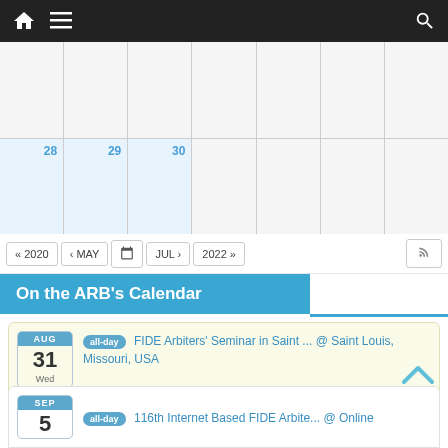[Figure (screenshot): Navigation bar with home icon, hamburger menu, and search icon on dark background]
[Figure (screenshot): Calendar grid showing partial month view with days 28, 29, 30 highlighted in light blue]
[Figure (screenshot): Calendar navigation buttons: « 2020, < MAY, calendar icon, JUL >, 2022 », and RSS feed button]
On the ARB's Calendar
all-day FIDE Arbiters' Seminar in Saint ... @ Saint Louis, Missouri, USA
AUG 31 Wed
all-day 120th Internet Based FIDE Arbite... @ Online
SEP 2 Fri
all-day 116th Internet Based FIDE Arbite... @ Online
SEP 5